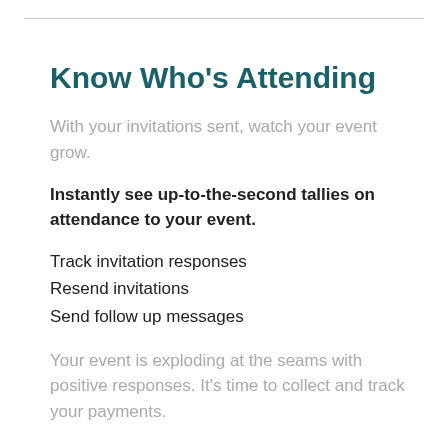Know Who's Attending
With your invitations sent, watch your event grow.
Instantly see up-to-the-second tallies on attendance to your event.
Track invitation responses
Resend invitations
Send follow up messages
Your event is exploding at the seams with positive responses. It's time to collect and track your payments.